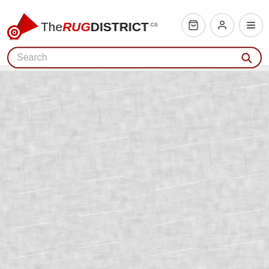TheRUGDISTRICT.ca — website header with logo and navigation icons
[Figure (screenshot): Close-up photograph of a shaggy white/cream rug showing textured fibers and strands in a loose, open weave pattern]